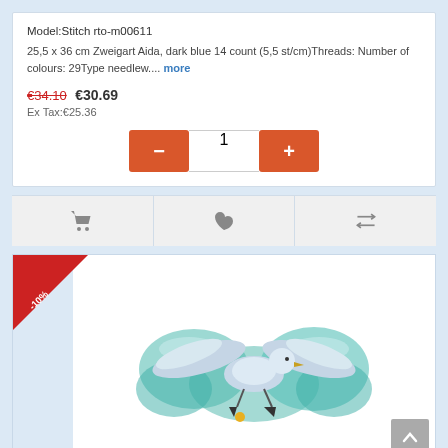Model:Stitch rto-m00611
25,5 x 36 cm Zweigart Aida, dark blue 14 count (5,5 st/cm)Threads: Number of colours: 29Type needlew.... more
€34.10 €30.69 Ex Tax:€25.36
[Figure (screenshot): Quantity selector with minus and plus buttons, showing value 1]
[Figure (screenshot): Action bar with cart, heart/wishlist, and compare icons]
[Figure (photo): Product image of a cross-stitch embroidery showing a seagull bird with blue and teal foliage background, with -10% discount badge in red corner]